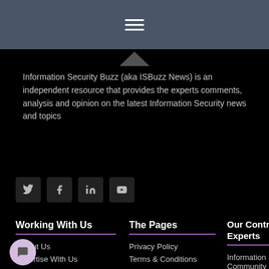[Figure (other): Navigation bar with hamburger menu icon (three horizontal lines) on dark blue-grey background]
Information Security Buzz (aka ISBuzz News) is an independent resource that provides the experts comments, analysis and opinion on the latest Information Security news and topics
[Figure (other): Row of four social media icons: Twitter, Facebook, LinkedIn, YouTube — dark square buttons]
Working With Us
The Pages
Our Contributing Experts
About Us
Privacy Policy
Information Security Expert Community (1000+)
Advertise With Us
Terms & Conditions
Information Security…
RSS Feeds…